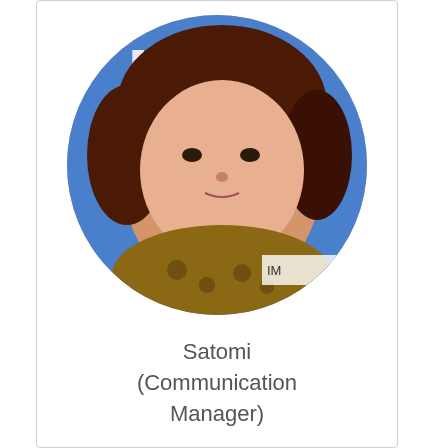[Figure (photo): Circular cropped photo of Satomi, a woman with dark reddish-brown hair wearing a leopard print top, with a blue banner background visible behind her]
Satomi
(Communication
Manager)
[Figure (photo): Circular cropped photo of Kenji (CEO), a man wearing glasses and a dark suit jacket with a checkered shirt, standing in front of a blue banner with Japanese text]
Kenji (CEO)